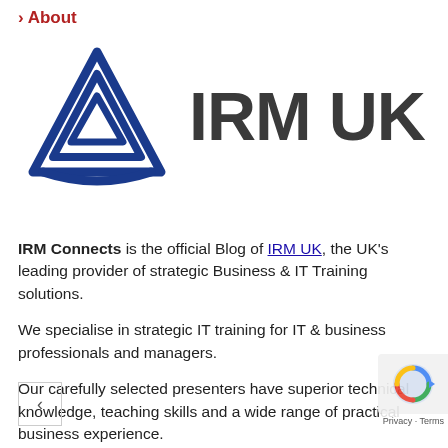> About
[Figure (logo): IRM UK logo: blue triangular geometric icon with layered triangles, followed by bold dark text 'IRM UK']
IRM Connects is the official Blog of IRM UK, the UK's leading provider of strategic Business & IT Training solutions.
We specialise in strategic IT training for IT & business professionals and managers.
Our carefully selected presenters have superior technical knowledge, teaching skills and a wide range of practical business experience.
Why not visit our corporate homepage for more details on how to attend one of our upcoming Seminar or Conference events in